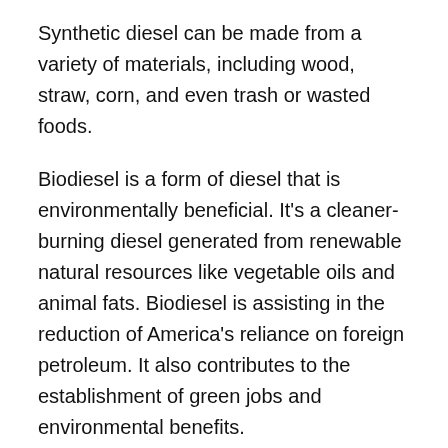Synthetic diesel can be made from a variety of materials, including wood, straw, corn, and even trash or wasted foods.
Biodiesel is a form of diesel that is environmentally beneficial. It's a cleaner-burning diesel generated from renewable natural resources like vegetable oils and animal fats. Biodiesel is assisting in the reduction of America's reliance on foreign petroleum. It also contributes to the establishment of green jobs and environmental benefits.
Does The Quality Of Diesel Matter?